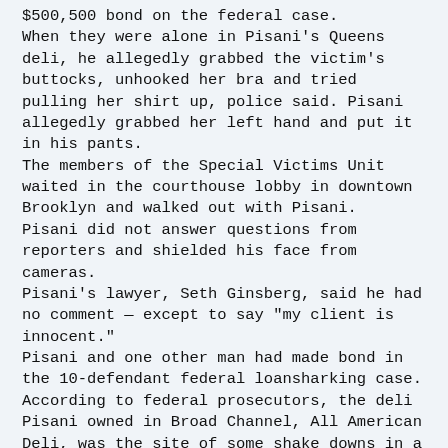$500,500 bond on the federal case. When they were alone in Pisani's Queens deli, he allegedly grabbed the victim's buttocks, unhooked her bra and tried pulling her shirt up, police said. Pisani allegedly grabbed her left hand and put it in his pants. The members of the Special Victims Unit waited in the courthouse lobby in downtown Brooklyn and walked out with Pisani. Pisani did not answer questions from reporters and shielded his face from cameras. Pisani's lawyer, Seth Ginsberg, said he had no comment — except to say "my client is innocent." Pisani and one other man had made bond in the 10-defendant federal loansharking case. According to federal prosecutors, the deli Pisani owned in Broad Channel, All American Deli, was the site of some shake downs in a loansharking operation that raked in $26 million. Pisani allegedly employed Ronald "Ronnie G"